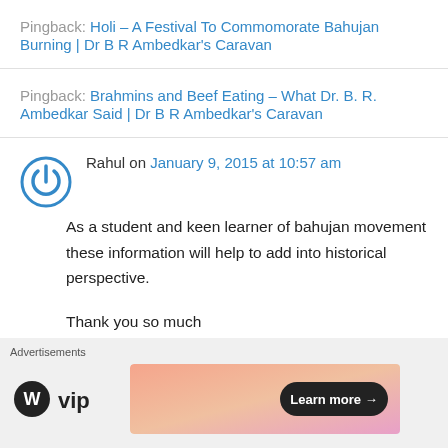Pingback: Holi – A Festival To Commomorate Bahujan Burning | Dr B R Ambedkar's Caravan
Pingback: Brahmins and Beef Eating – What Dr. B. R. Ambedkar Said | Dr B R Ambedkar's Caravan
Rahul on January 9, 2015 at 10:57 am
As a student and keen learner of bahujan movement these information will help to add into historical perspective.

Thank you so much
[Figure (other): WordPress VIP advertisement banner with Learn more button]